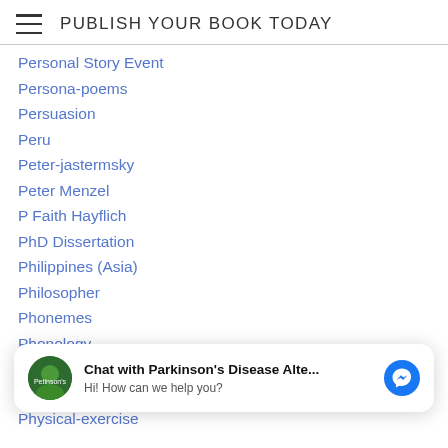PUBLISH YOUR BOOK TODAY
Personal Story Event
Persona-poems
Persuasion
Peru
Peter-jastermsky
Peter Menzel
P Faith Hayflich
PhD Dissertation
Philippines (Asia)
Philosopher
Phonemes
Phonology
Photographer
Photography
[Figure (screenshot): Facebook Messenger chat popup: avatar of Parkinson's Disease Alte..., text 'Chat with Parkinson's Disease Alte...' and 'Hi! How can we help you?', with Messenger icon button]
Physical-exercise